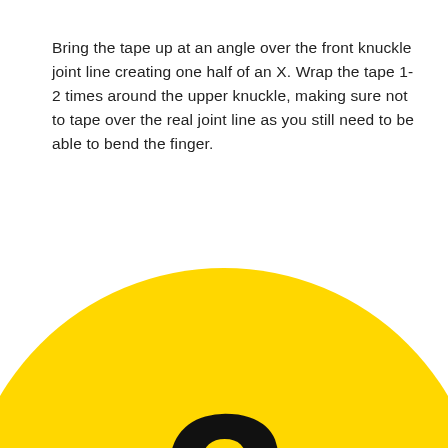Bring the tape up at an angle over the front knuckle joint line creating one half of an X. Wrap the tape 1-2 times around the upper knuckle, making sure not to tape over the real joint line as you still need to be able to bend the finger.
[Figure (illustration): A large yellow circle (partially cropped, showing top half and sides) with a bold black number '3' in the center.]